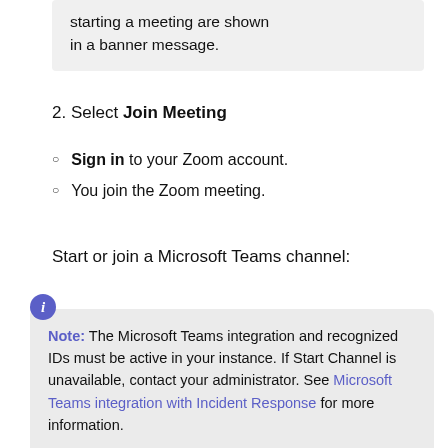starting a meeting are shown in a banner message.
2. Select Join Meeting
Sign in to your Zoom account.
You join the Zoom meeting.
Start or join a Microsoft Teams channel:
Note: The Microsoft Teams integration and recognized IDs must be active in your instance. If Start Channel is unavailable, contact your administrator. See Microsoft Teams integration with Incident Response for more information.